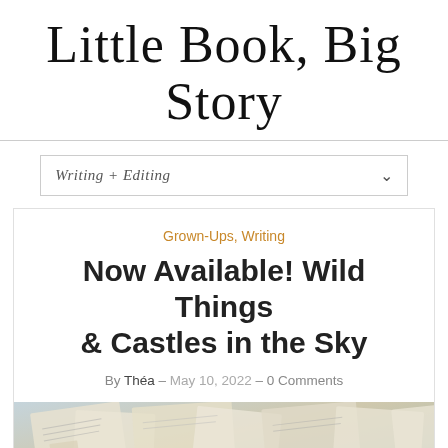Little Book, Big Story
Writing + Editing
Grown-Ups, Writing
Now Available! Wild Things & Castles in the Sky
By Théa – May 10, 2022 – 0 Comments
[Figure (photo): Overhead view of scattered antique book pages and illustrated prints on a flat surface, with a small blue object visible among the papers.]